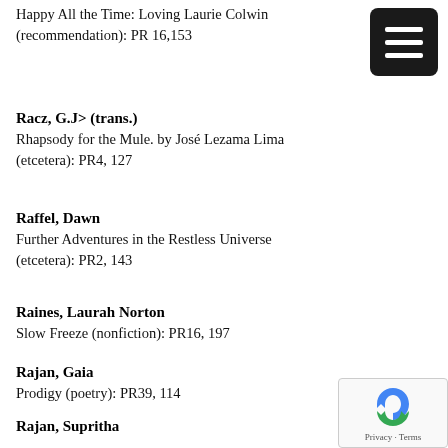Happy All the Time: Loving Laurie Colwin (recommendation): PR 16,153
Racz, G.J> (trans.)
Rhapsody for the Mule. by José Lezama Lima (etcetera): PR4, 127
Raffel, Dawn
Further Adventures in the Restless Universe (etcetera): PR2, 143
Raines, Laurah Norton
Slow Freeze (nonfiction): PR16, 197
Rajan, Gaia
Prodigy (poetry): PR39, 114
Rajan, Supritha
The River + The Landscape as Interior (poetry): PR39, 87